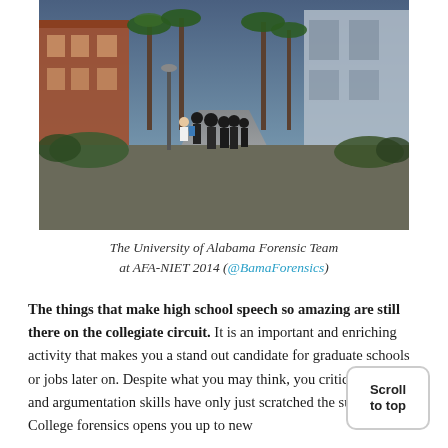[Figure (photo): Outdoor photo of the University of Alabama Forensic Team walking on a campus pathway lined with palm trees and brick buildings at dusk.]
The University of Alabama Forensic Team at AFA-NIET 2014 (@BamaForensics)
The things that make high school speech so amazing are still there on the collegiate circuit. It is an important and enriching activity that makes you a stand out candidate for graduate schools or jobs later on. Despite what you may think, your critical thinking and argumentation skills have only just scratched the surface. College forensics opens you up to new